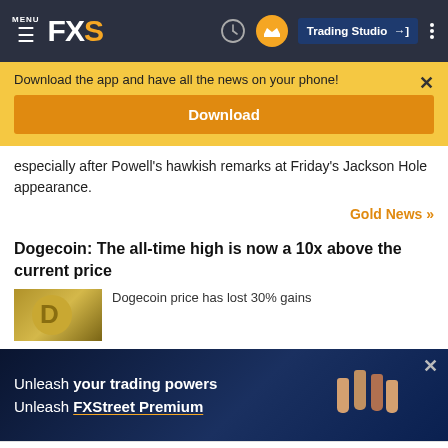MENU FXS Trading Studio
Download the app and have all the news on your phone!
Download
especially after Powell's hawkish remarks at Friday's Jackson Hole appearance.
Gold News >>
Dogecoin: The all-time high is now a 10x above the current price
Dogecoin price has lost 30% gains
[Figure (screenshot): FXStreet Premium advertisement banner with raised fists imagery and text: Unleash your trading powers Unleash FXStreet Premium]
©2022 "FXStreet" All Rights Reserved    Disclaimer ▲